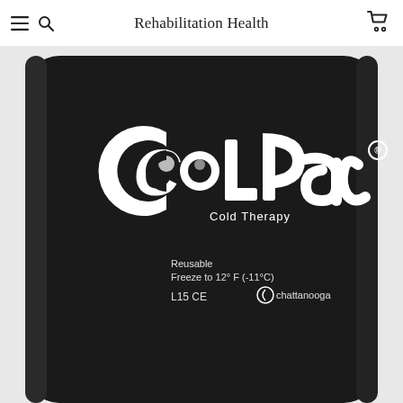Rehabilitation Health
[Figure (photo): A black ColPac cold therapy pack photographed from the back, showing the ColPac brand logo in white, text reading 'Reusable', 'Freeze to 12° F (-11°C)', 'L15 CE', and the Chattanooga brand logo. The pack is dark black/charcoal with rounded corners.]